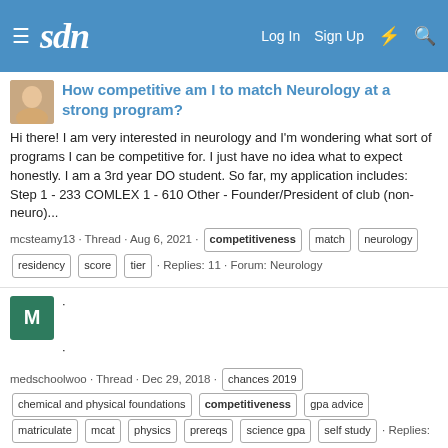sdn | Log In  Sign Up
How competitive am I to match Neurology at a strong program?
Hi there! I am very interested in neurology and I'm wondering what sort of programs I can be competitive for. I just have no idea what to expect honestly. I am a 3rd year DO student. So far, my application includes: Step 1 - 233 COMLEX 1 - 610 Other - Founder/President of club (non-neuro)...
mcsteamy13 · Thread · Aug 6, 2021 · competitiveness  match  neurology  residency  score  tier · Replies: 11 · Forum: Neurology
·
·
medschoolwoo · Thread · Dec 29, 2018 · chances 2019  chemical and physical foundations  competitiveness  gpa advice  matriculate  mcat  physics  prereqs  science gpa  self study · Replies: 3 · Forum: Pre-Medical (MD)
Thread on Competitiveness & Unity in